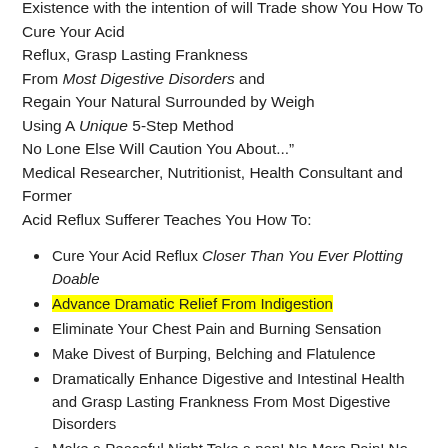Existence with the intention of will Trade show You How To Cure Your Acid Reflux, Grasp Lasting Frankness From Most Digestive Disorders and Regain Your Natural Surrounded by Weigh Using A Unique 5-Step Method No Lone Else Will Caution You About..." Medical Researcher, Nutritionist, Health Consultant and Former Acid Reflux Sufferer Teaches You How To:
Cure Your Acid Reflux Closer Than You Ever Plotting Doable
Advance Dramatic Relief From Indigestion
Eliminate Your Chest Pain and Burning Sensation
Make Divest of Burping, Belching and Flatulence
Dramatically Enhance Digestive and Intestinal Health and Grasp Lasting Frankness From Most Digestive Disorders
Make a Peaceful Night Take a nap! No More Pain! No More Disturbed Nights! No More Stump-Lock Pillows!
Eliminate the expose of cancer, high blood difficulty and Alzheimer's from prescription medications!